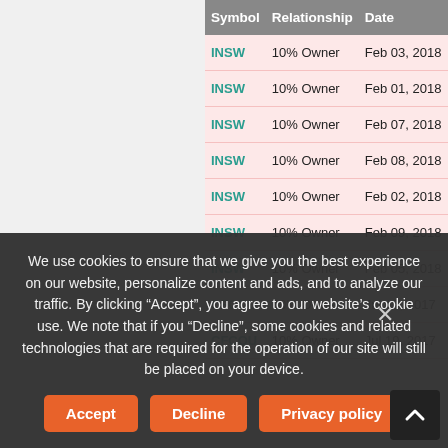| Symbol | Relationship | Date | Transaction | Cost | # |
| --- | --- | --- | --- | --- | --- |
| INSW | 10% Owner | Feb 03, 2018 | Sale | $16.81 | 4 |
| INSW | 10% Owner | Feb 01, 2018 | Sale | $16.58 | 2 |
| INSW | 10% Owner | Feb 07, 2018 | Sale | $16.25 | 1 |
| INSW | 10% Owner | Feb 08, 2018 | Sale | $15.82 | 2 |
| INSW | 10% Owner | Feb 02, 2018 | Sale | $16.77 | 4 |
| INSW | 10% Owner | Feb 09, 2018 | Sale | $15.63 | 7 |
| INSW | 10% Owner | Feb 05, 2018 | Sale | $16.81 | 1 |
| CFCOU | 10% Owner | Jul 19, 2017 | Sale | $10.98 | 9 |
| CFCOU | 10% Owner | Jul 19, 2017 | Sale | $10.98 | 2 |
We use cookies to ensure that we give you the best experience on our website, personalize content and ads, and to analyze our traffic. By clicking “Accept”, you agree to our website’s cookie use. We note that if you “Decline”, some cookies and related technologies that are required for the operation of our site will still be placed on your device.